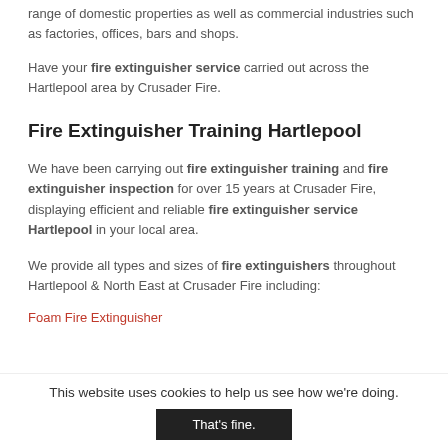range of domestic properties as well as commercial industries such as factories, offices, bars and shops.
Have your fire extinguisher service carried out across the Hartlepool area by Crusader Fire.
Fire Extinguisher Training Hartlepool
We have been carrying out fire extinguisher training and fire extinguisher inspection for over 15 years at Crusader Fire, displaying efficient and reliable fire extinguisher service Hartlepool in your local area.
We provide all types and sizes of fire extinguishers throughout Hartlepool & North East at Crusader Fire including:
Foam Fire Extinguisher
This website uses cookies to help us see how we're doing.